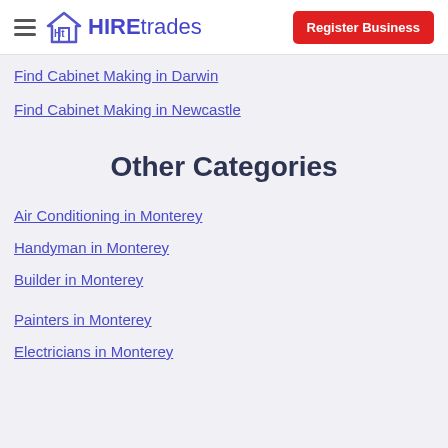HIREtrades | Register Business
Find Cabinet Making in Darwin
Find Cabinet Making in Newcastle
Other Categories
Air Conditioning in Monterey
Handyman in Monterey
Builder in Monterey
Painters in Monterey
Electricians in Monterey